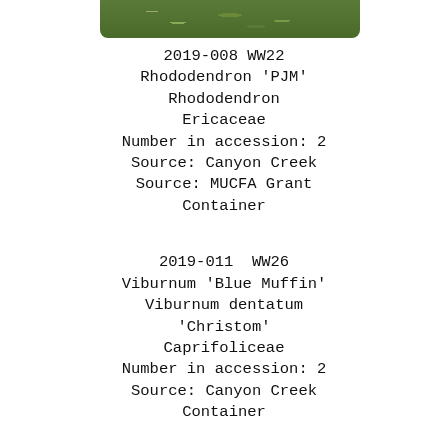[Figure (photo): Partial photo of plant/shrub foliage at top of page]
2019-008 WW22
Rhododendron 'PJM'
Rhododendron
Ericaceae
Number in accession: 2
Source: Canyon Creek
Source: MUCFA Grant
Container
2019-011  WW26
Viburnum 'Blue Muffin'
Viburnum dentatum
'Christom'
Caprifoliceae
Number in accession: 2
Source: Canyon Creek
Container
2019-042  WW32
Potentilla-Pink Beauty
Shrub Cinquefoil
Rosaceae
Number in accession: 5
Source: Canyon Creek